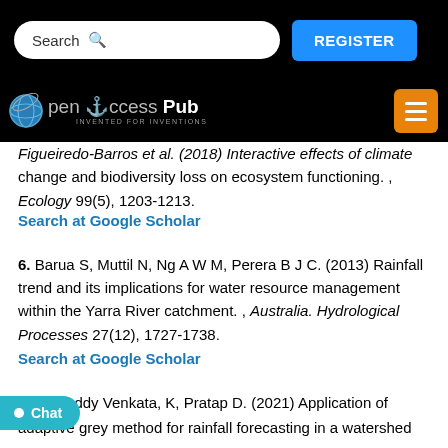Open Access Pub – INVENTED FOR INVENTIONS
Figueiredo-Barros et al. (2018) Interactive effects of climate change and biodiversity loss on ecosystem functioning. , Ecology 99(5), 1203-1213.
Search at Google Scholar
6. Barua S, Muttil N, Ng A W M, Perera B J C. (2013) Rainfall trend and its implications for water resource management within the Yarra River catchment. , Australia. Hydrological Processes 27(12), 1727-1738.
Search at Google Scholar
ha P, Reddy Venkata, K, Pratap D. (2021) Application of adaptive grey method for rainfall forecasting in a watershed